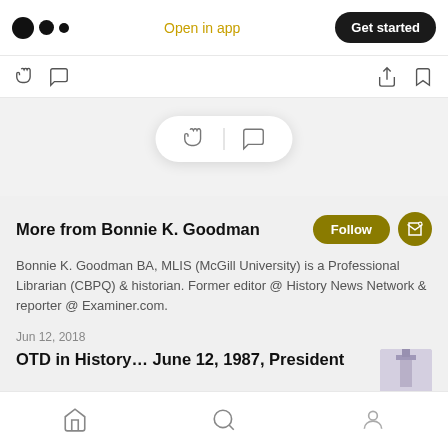[Figure (screenshot): Medium app top navigation bar with logo, 'Open in app' link, and 'Get started' button]
[Figure (screenshot): Secondary toolbar with clap and comment icons on left, share and bookmark icons on right]
[Figure (screenshot): Floating action bar with clap and comment icons]
More from Bonnie K. Goodman
Bonnie K. Goodman BA, MLIS (McGill University) is a Professional Librarian (CBPQ) & historian. Former editor @ History News Network & reporter @ Examiner.com.
Jun 12, 2018
OTD in History… June 12, 1987, President
[Figure (photo): Partial thumbnail image of a building/monument]
[Figure (screenshot): Bottom navigation bar with home, search, and profile icons]